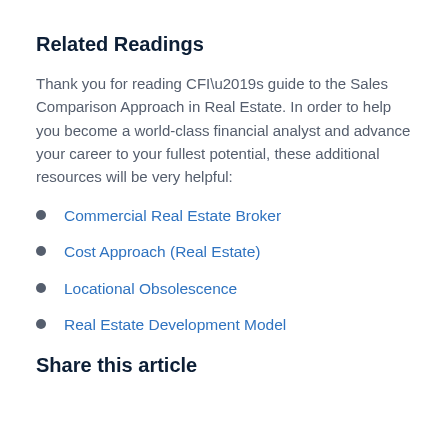Related Readings
Thank you for reading CFI’s guide to the Sales Comparison Approach in Real Estate. In order to help you become a world-class financial analyst and advance your career to your fullest potential, these additional resources will be very helpful:
Commercial Real Estate Broker
Cost Approach (Real Estate)
Locational Obsolescence
Real Estate Development Model
Share this article